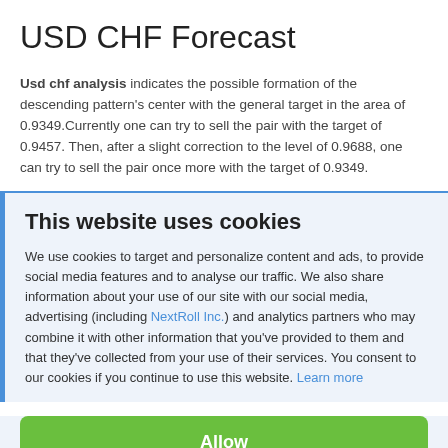USD CHF Forecast
Usd chf analysis indicates the possible formation of the descending pattern's center with the general target in the area of 0.9349.Currently one can try to sell the pair with the target of 0.9457. Then, after a slight correction to the level of 0.9688, one can try to sell the pair once more with the target of 0.9349.
This website uses cookies
We use cookies to target and personalize content and ads, to provide social media features and to analyse our traffic. We also share information about your use of our site with our social media, advertising (including NextRoll Inc.) and analytics partners who may combine it with other information that you've provided to them and that they've collected from your use of their services. You consent to our cookies if you continue to use this website. Learn more
Allow
Disallow